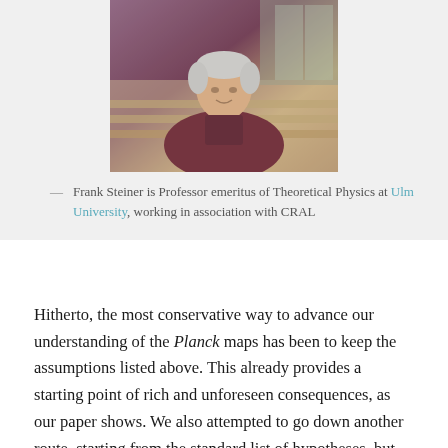[Figure (photo): Portrait photo of Frank Steiner, an older man with white hair wearing a dark red/maroon shirt, seated outdoors near stone steps.]
— Frank Steiner is Professor emeritus of Theoretical Physics at Ulm University, working in association with CRAL
Hitherto, the most conservative way to advance our understanding of the Planck maps has been to keep the assumptions listed above. This already provides a starting point of rich and unforeseen consequences, as our paper shows. We also attempted to go down another route, starting from the standard list of hypotheses, but aiming to critically examine further model-dependences in the analysis of the deviations from the assumed Gaussian distribution (so-called non-Gaussianities). It is here, where